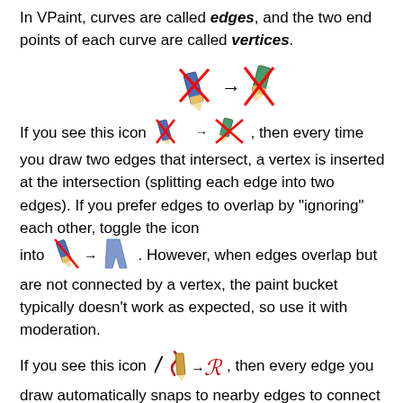In VPaint, curves are called edges, and the two end points of each curve are called vertices.
If you see this icon [icon: intersect-on], then every time you draw two edges that intersect, a vertex is inserted at the intersection (splitting each edge into two edges). If you prefer edges to overlap by "ignoring" each other, toggle the icon into [icon: intersect-off]. However, when edges overlap but are not connected by a vertex, the paint bucket typically doesn't work as expected, so use it with moderation.
If you see this icon [icon: snap-on], then every edge you draw automatically snaps to nearby edges to connect them. You can disable this behaviour by toggling the icon to [icon: snap-off], but once again, use it with moderation because